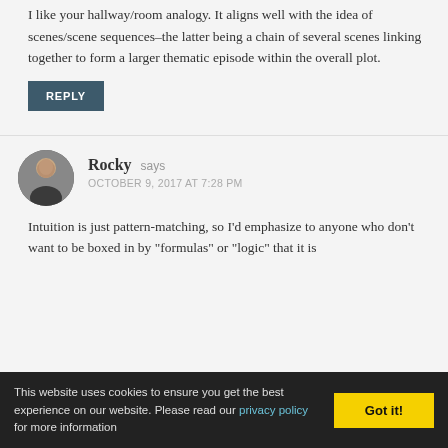Exactly.
I like your hallway/room analogy. It aligns well with the idea of scenes/scene sequences–the latter being a chain of several scenes linking together to form a larger thematic episode within the overall plot.
REPLY
Rocky says
OCTOBER 9, 2017 AT 7:28 PM
Intuition is just pattern-matching, so I'd emphasize to anyone who don't want to be boxed in by "formulas" or "logic" that it is
This website uses cookies to ensure you get the best experience on our website. Please read our privacy policy for more information